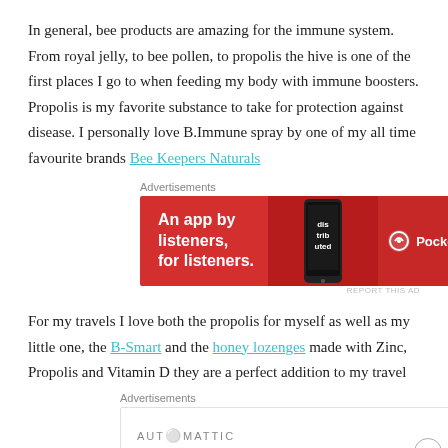In general, bee products are amazing for the immune system. From royal jelly, to bee pollen, to propolis the hive is one of the first places I go to when feeding my body with immune boosters. Propolis is my favorite substance to take for protection against disease. I personally love B.Immune spray by one of my all time favourite brands Bee Keepers Naturals
[Figure (other): Advertisement banner for Pocket Casts app: red background with phone image, text 'An app by listeners, for listeners.' and Pocket Casts logo]
For my travels I love both the propolis for myself as well as my little one, the B-Smart and the honey lozenges made with Zinc, Propolis and Vitamin D they are a perfect addition to my travel
[Figure (other): Advertisement for Automattic: white background with AUTOMATTIC logo and tagline 'Build a better web and a better world.']